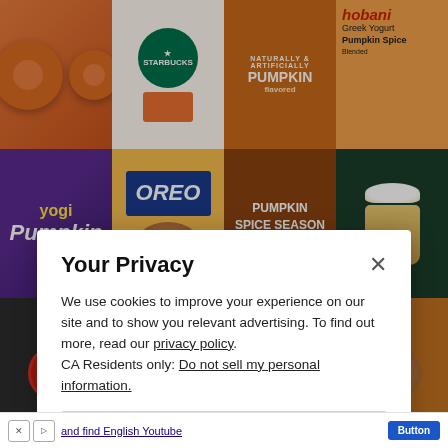[Figure (photo): Collage of pumpkin spice products in a 4x3 grid: glazed donuts, Starbucks logo, pumpkin spice package, Chobani Greek Yogurt Pumpkin Spice, Yogi Pumpkin tea, Oreo pumpkin spice cookies, Pumpkin Spice Season foaming hand wash, whipped coffee drink, Tip overlay, Vermont's Fine product, Pumpkin Spice cursive text, cookies]
19 Pumpkin Spice Products to Fully Embrace Every
We use cookies to improve your experience on our site and to show you relevant advertising. To find out more, read our privacy policy. CA Residents only: Do not sell my personal information.
Ok
and find English Youtube